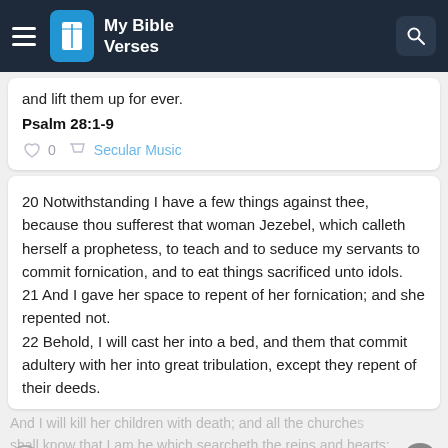My Bible Verses
and lift them up for ever.
Psalm 28:1-9
0   Secular Music
20 Notwithstanding I have a few things against thee, because thou sufferest that woman Jezebel, which calleth herself a prophetess, to teach and to seduce my servants to commit fornication, and to eat things sacrificed unto idols.
21 And I gave her space to repent of her fornication; and she repented not.
22 Behold, I will cast her into a bed, and them that commit adultery with her into great tribulation, except they repent of their deeds.
And I will kill her children with death; and all the churches shall know that I am he which searcheth the reins and hearts: and I will give unto every one of you according to your works. 24 But unto you I say, and unto the rest in Thyatira…